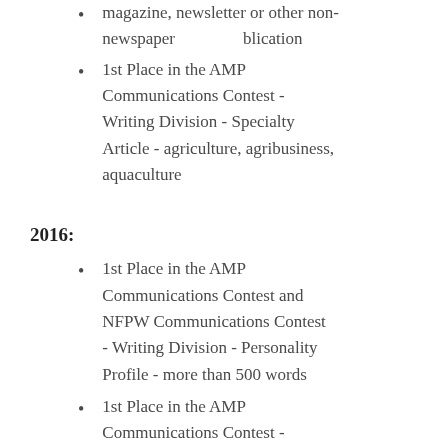magazine, newsletter or other non-newspaper publication
1st Place in the AMP Communications Contest - Writing Division - Specialty Article - agriculture, agribusiness, aquaculture
2016:
1st Place in the AMP Communications Contest and NFPW Communications Contest - Writing Division - Personality Profile - more than 500 words
1st Place in the AMP Communications Contest - Writing Division - Specialty